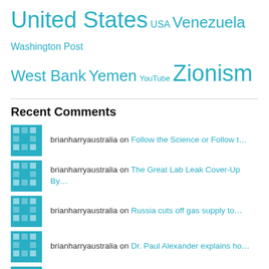United States USA Venezuela Washington Post West Bank Yemen YouTube Zionism
Recent Comments
brianharryaustralia on Follow the Science or Follow t…
brianharryaustralia on The Great Lab Leak Cover-Up By…
brianharryaustralia on Russia cuts off gas supply to…
brianharryaustralia on Dr. Paul Alexander explains ho…
brianharryaustralia on Hungary to Ask Europe to Stop…
brianharryaustralia on Who Owns UK's Offshore W…
Bill Francis on Australia's excess death…